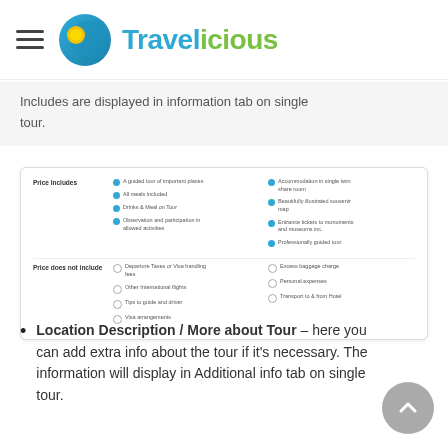Travelicious
Includes are displayed in information tab on single tour.
[Figure (screenshot): Screenshot of a tour detail page showing 'Price includes' section with items: A guided tour of important places, All meals included, Drinks & Meal on Tour, Observation and participation in allowed activities, Accommodation in single twin share room, Beautifully illustrated souvenir map, Entrance tickets to monuments and museums inc., Professionally guided tour. Also shows 'Price does not include' section with: Departure Taxes or Visa handling fees, Other International flights, Tips to guide and driver, Visa arrangements, Excess baggage charge, Personal expenses, Transport to & from Hotel.]
Location Description / More about Tour – here you can add extra info about the tour if it's necessary. The information will display in Additional info tab on single tour.